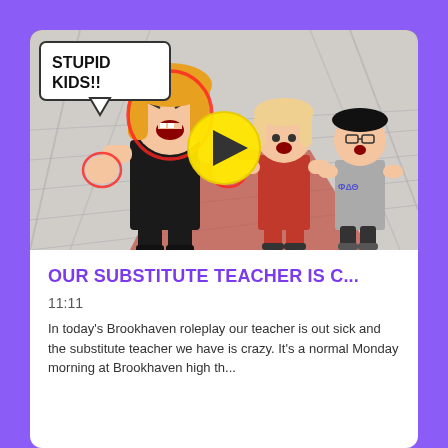[Figure (screenshot): Video thumbnail showing Roblox-style animated characters in a school hallway. An angry teacher character with blonde hair wearing black outfit has a speech bubble saying 'STUPID KIDS!!'. Two student characters stand behind. A yellow play button circle is centered on the image.]
OUR SUBSTITUTE TEACHER IS C...
11:11
In today's Brookhaven roleplay our teacher is out sick and the substitute teacher we have is crazy. It's a normal Monday morning at Brookhaven high th...